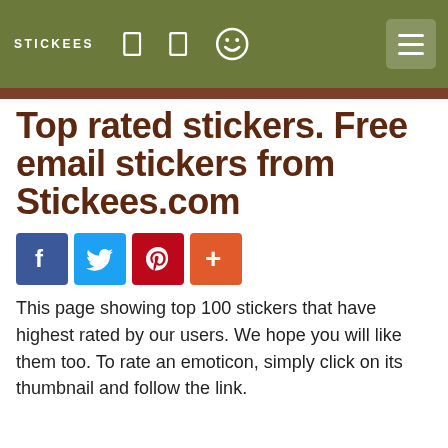STICKEES
Top rated stickers. Free email stickers from Stickees.com
[Figure (infographic): Social sharing buttons: Facebook (blue), Twitter (light blue), Pinterest (red), Share/Plus (orange-red)]
This page showing top 100 stickers that have highest rated by our users. We hope you will like them too. To rate an emoticon, simply click on its thumbnail and follow the link.